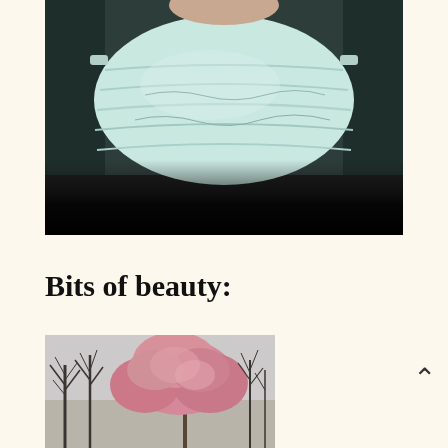[Figure (photo): Close-up photograph of a person wearing a light blue/mint colored surgical face mask. The image has a dark background and the mask fills most of the frame. The bottom portion of the image fades to black.]
Bits of beauty:
[Figure (photo): Photograph of blooming spring trees, including a prominent pink cherry blossom or similar flowering tree surrounded by bare leafless trees, against a light grey sky.]